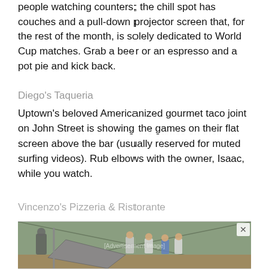people watching counters; the chill spot has couches and a pull-down projector screen that, for the rest of the month, is solely dedicated to World Cup matches. Grab a beer or an espresso and a pot pie and kick back.
Diego's Taqueria
Uptown's beloved Americanized gourmet taco joint on John Street is showing the games on their flat screen above the bar (usually reserved for muted surfing videos). Rub elbows with the owner, Isaac, while you watch.
Vincenzo's Pizzeria & Ristorante
[Figure (photo): Photo of children and adults working outdoors in what appears to be a garden or construction area, with fencing and wooden panels visible.]